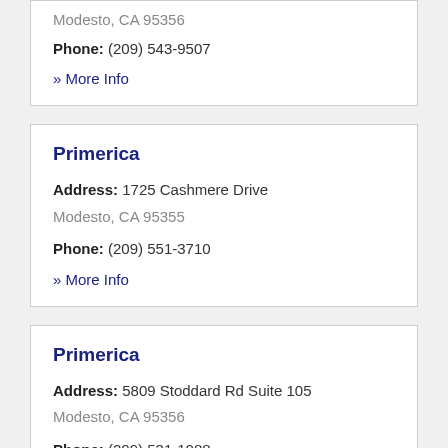Modesto, CA 95356
Phone: (209) 543-9507
» More Info
Primerica
Address: 1725 Cashmere Drive
Modesto, CA 95355
Phone: (209) 551-3710
» More Info
Primerica
Address: 5809 Stoddard Rd Suite 105
Modesto, CA 95356
Phone: (209) 531-1088